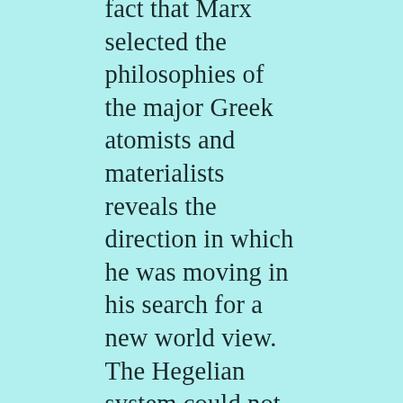fact that Marx selected the philosophies of the major Greek atomists and materialists reveals the direction in which he was moving in his search for a new world view. The Hegelian system could not be superceded within the framework of idealism. No idealist philosophy could be of any help in this regard